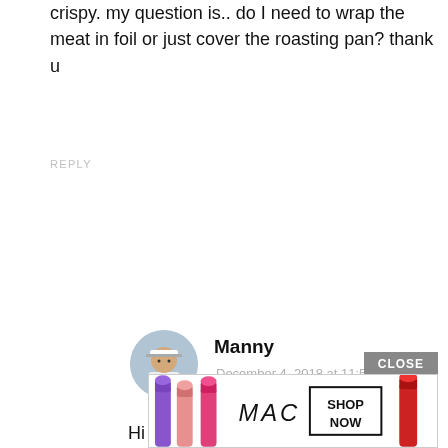crispy. my question is.. do I need to wrap the meat in foil or just cover the roasting pan? thank u
REPLY
[Figure (photo): Circular avatar photo of commenter Manny, showing a person outdoors wearing a white visor and white tank top, holding a camera.]
Manny
December 4, 2018 at 11:58 pm
Hi Marichel, yes can cover the roasting pan with aluminum foil. But it is better to wrap it.
REPLY
[Figure (photo): MAC cosmetics advertisement banner showing several lipsticks in purple, pink colors, the MAC logo in italic script, and a SHOP NOW button.]